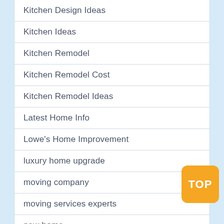Kitchen Design Ideas
Kitchen Ideas
Kitchen Remodel
Kitchen Remodel Cost
Kitchen Remodel Ideas
Latest Home Info
Lowe's Home Improvement
luxury home upgrade
moving company
moving services experts
new home